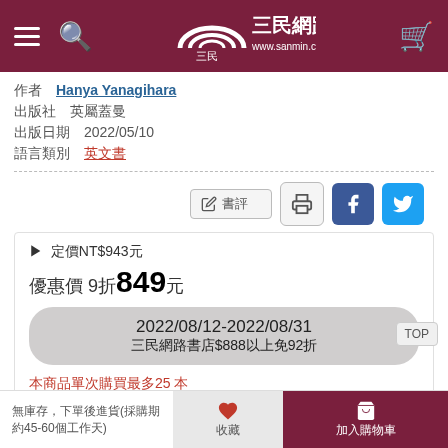三民網路書店 www.sanmin.com.tw
作者 Hanya Yanagihara
出版社 英屬蓋曼
出版日期 2022/05/10
語言類別 英文書
定價 ▶ 原價NT$943元
優惠價 9折 849元
2022/08/12-2022/08/31 三民網路書店$888以上免92折
本商品單次購買最多25 本
無庫存，下單後進貨(採購期約45-60個工作天)
無庫存，下單後進貨(採購期約45-60個工作天)